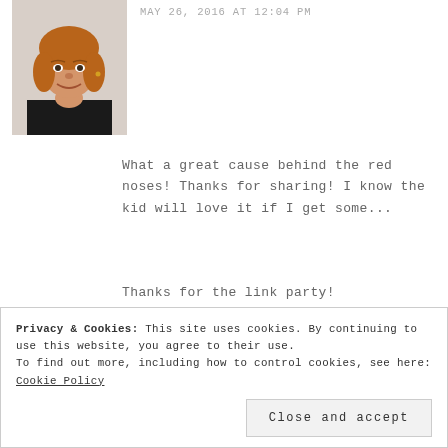[Figure (photo): Portrait photo of a woman with reddish-brown shoulder-length hair, smiling, against a light background]
MAY 26, 2016 AT 12:04 PM
What a great cause behind the red noses! Thanks for sharing! I know the kid will love it if I get some...
Thanks for the link party!
Have a wonderful weekend!
Privacy & Cookies: This site uses cookies. By continuing to use this website, you agree to their use.
To find out more, including how to control cookies, see here:
Cookie Policy
Close and accept